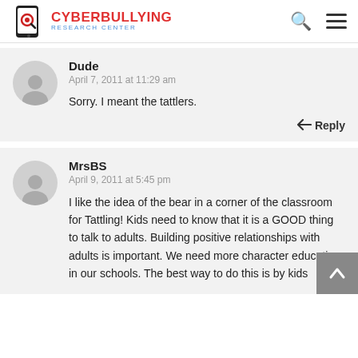Cyberbullying Research Center
Dude
April 7, 2011 at 11:29 am

Sorry. I meant the tattlers.
MrsBS
April 9, 2011 at 5:45 pm

I like the idea of the bear in a corner of the classroom for Tattling! Kids need to know that it is a GOOD thing to talk to adults. Building positive relationships with adults is important. We need more character education in our schools. The best way to do this is by kids